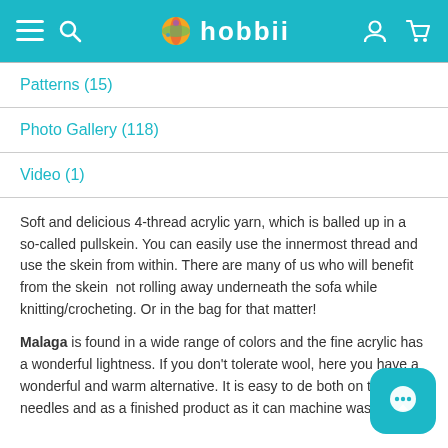hobbii
Patterns (15)
Photo Gallery (118)
Video (1)
Soft and delicious 4-thread acrylic yarn, which is balled up in a so-called pullskein. You can easily use the innermost thread and use the skein from within. There are many of us who will benefit from the skein not rolling away underneath the sofa while knitting/crocheting. Or in the bag for that matter!
Malaga is found in a wide range of colors and the fine acrylic has a wonderful lightness. If you don't tolerate wool, here you have a wonderful and warm alternative. It is easy to de both on the needles and as a finished product as it can machine washed.